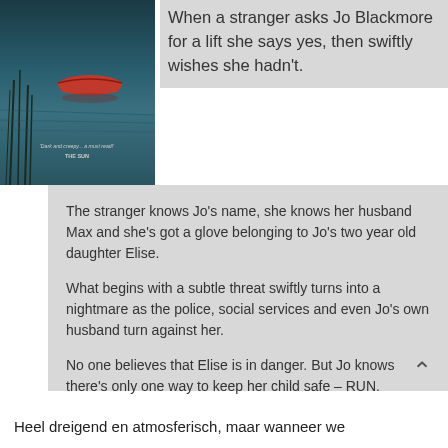[Figure (photo): Book cover image showing a dark atmospheric scene with water/lake and a red boat, with a quote 'Dark and creepy...a must read! THE SUN']
When a stranger asks Jo Blackmore for a lift she says yes, then swiftly wishes she hadn't.
The stranger knows Jo's name, she knows her husband Max and she's got a glove belonging to Jo's two year old daughter Elise.
What begins with a subtle threat swiftly turns into a nightmare as the police, social services and even Jo's own husband turn against her.
No one believes that Elise is in danger. But Jo knows there's only one way to keep her child safe – RUN.
Heel dreigend en atmosferisch, maar wanneer we